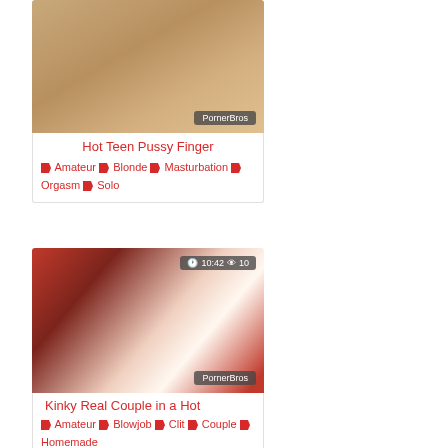[Figure (photo): Thumbnail image of video 'Hot Teen Pussy Finger' with PornerBros watermark overlay at bottom right]
Hot Teen Pussy Finger ♦ Amateur ♦ Blonde ♦ Masturbation ♦ Orgasm ♦ Solo
[Figure (photo): Thumbnail image of video 'Kinky Real Couple in a Hot' showing couple on bed with red room, duration 10:42, views 10, PornerBros watermark]
Kinky Real Couple in a Hot ♦ Amateur ♦ Blowjob ♦ Clit ♦ Couple ♦ Homemade
[Figure (photo): Thumbnail image of third video, similar red room setting, duration 10:42, views 16]